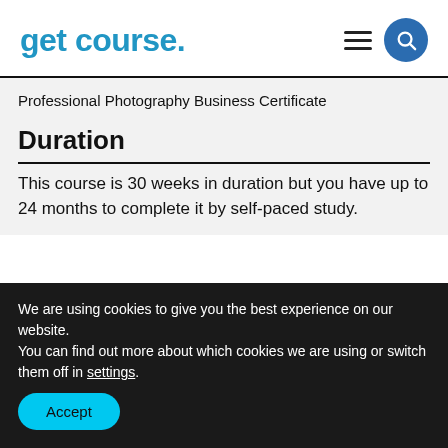get course.
Professional Photography Business Certificate
Duration
This course is 30 weeks in duration but you have up to 24 months to complete it by self-paced study.
We are using cookies to give you the best experience on our website.
You can find out more about which cookies we are using or switch them off in settings.
Accept